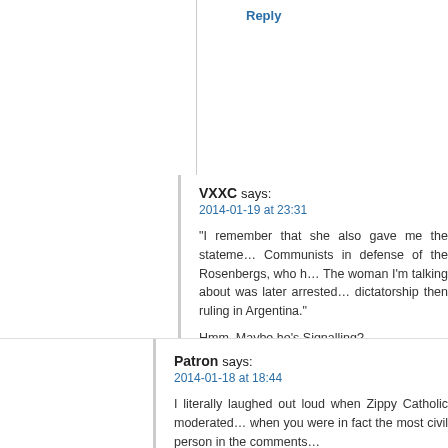Reply
VXXC says:
2014-01-19 at 23:31
“I remember that she also gave me the statement of Communists in defense of the Rosenbergs, who h… The woman I’m talking about was later arrested… dictatorship then ruling in Argentina.”

Hmm. Maybe he’s Signalling?

Pontifex Indexus Venti will quite point right when t… already done so.
Reply
Patron says:
2014-01-18 at 18:44
I literally laughed out loud when Zippy Catholic moderated… when you were in fact the most civil person in the comments…
Reply